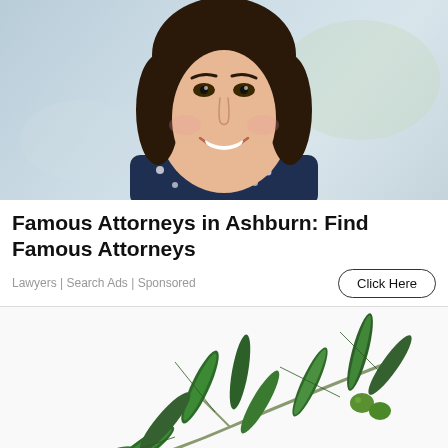[Figure (photo): Close-up photo of a smiling woman with dark hair wearing a dark navy polka-dot blouse, blurred background]
Famous Attorneys in Ashburn: Find Famous Attorneys
Lawyers | Search Ads | Sponsored
[Figure (photo): Photo of an olive branch with green olives and leaves on a white background]